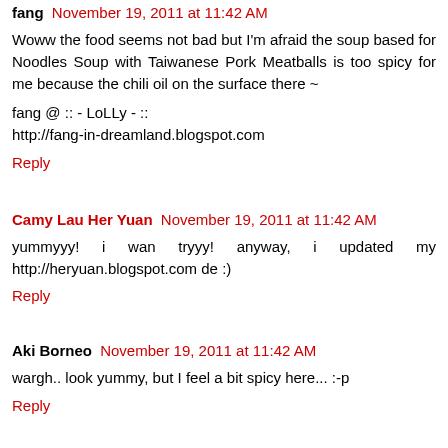fang  November 19, 2011 at 11:42 AM
Woww the food seems not bad but I'm afraid the soup based for Noodles Soup with Taiwanese Pork Meatballs is too spicy for me because the chili oil on the surface there ~
fang @ :: - LoLLy - ::
http://fang-in-dreamland.blogspot.com
Reply
Camy Lau Her Yuan  November 19, 2011 at 11:42 AM
yummyyy! i wan tryyy! anyway, i updated my http://heryuan.blogspot.com de :)
Reply
Aki Borneo  November 19, 2011 at 11:42 AM
wargh.. look yummy, but I feel a bit spicy here... :-p
Reply